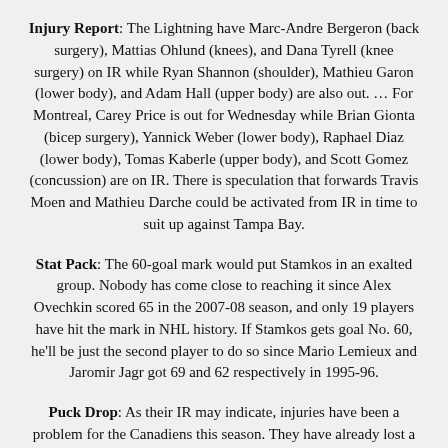Injury Report: The Lightning have Marc-Andre Bergeron (back surgery), Mattias Ohlund (knees), and Dana Tyrell (knee surgery) on IR while Ryan Shannon (shoulder), Mathieu Garon (lower body), and Adam Hall (upper body) are also out. … For Montreal, Carey Price is out for Wednesday while Brian Gionta (bicep surgery), Yannick Weber (lower body), Raphael Diaz (lower body), Tomas Kaberle (upper body), and Scott Gomez (concussion) are on IR. There is speculation that forwards Travis Moen and Mathieu Darche could be activated from IR in time to suit up against Tampa Bay.
Stat Pack: The 60-goal mark would put Stamkos in an exalted group. Nobody has come close to reaching it since Alex Ovechkin scored 65 in the 2007-08 season, and only 19 players have hit the mark in NHL history. If Stamkos gets goal No. 60, he'll be just the second player to do so since Mario Lemieux and Jaromir Jagr got 69 and 62 respectively in 1995-96.
Puck Drop: As their IR may indicate, injuries have been a problem for the Canadiens this season. They have already lost a League-high 410 man-games to injury and only two Habs players, Cole and Josh Gorges, have suited up for all 79 games this season.
As my last GDT of this season, I would just like to take a moment to thank all of you. This season was disappointing to say the least, but it would have been